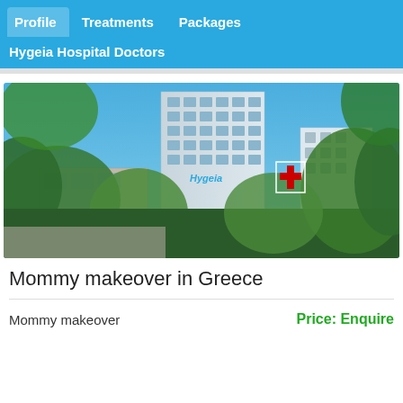Profile  Treatments  Packages
Hygeia Hospital Doctors
[Figure (photo): Exterior photograph of Hygeia Hospital in Greece, showing a tall modern glass and concrete tower building with greenery and trees in the foreground, a red cross medical symbol visible on the right side, and a clear blue sky in the background.]
Mommy makeover in Greece
Mommy makeover
Price: Enquire